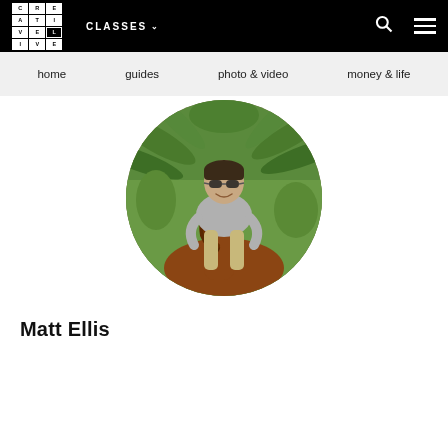CREATIVE LIVE — CLASSES — [search] — [menu]
home   guides   photo & video   money & life
[Figure (photo): Circular profile photo of Matt Ellis, a man wearing sunglasses riding a brown horse surrounded by tropical palm trees and green foliage]
Matt Ellis